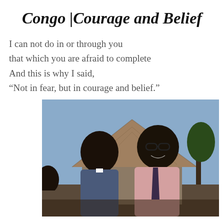Congo |Courage and Belief
I can not do in or through you
that which you are afraid to complete
And this is why I said,
“Not in fear, but in courage and belief.”
[Figure (photo): Two men standing outdoors in front of a thatched-roof hut with blue sky and trees in the background. The man on the right is wearing glasses, a pink shirt, and a dark tie, and is smiling.]